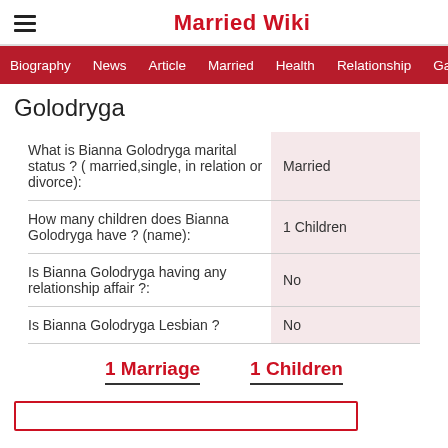Married Wiki
Biography | News | Article | Married | Health | Relationship | Ga
Golodryga
| Question | Answer |
| --- | --- |
| What is Bianna Golodryga marital status ? ( married,single, in relation or divorce): | Married |
| How many children does Bianna Golodryga have ? (name): | 1 Children |
| Is Bianna Golodryga having any relationship affair ?: | No |
| Is Bianna Golodryga Lesbian ? | No |
1 Marriage   1 Children